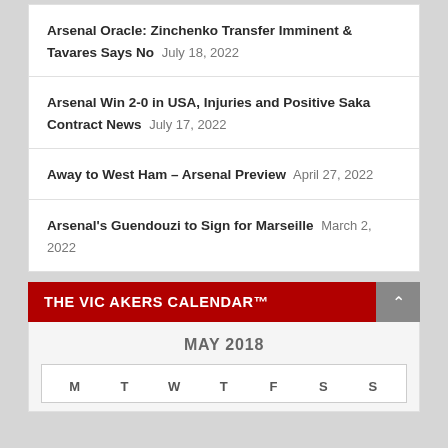Arsenal Oracle: Zinchenko Transfer Imminent & Tavares Says No July 18, 2022
Arsenal Win 2-0 in USA, Injuries and Positive Saka Contract News July 17, 2022
Away to West Ham – Arsenal Preview April 27, 2022
Arsenal's Guendouzi to Sign for Marseille March 2, 2022
THE VIC AKERS CALENDAR™
MAY 2018
| M | T | W | T | F | S | S |
| --- | --- | --- | --- | --- | --- | --- |